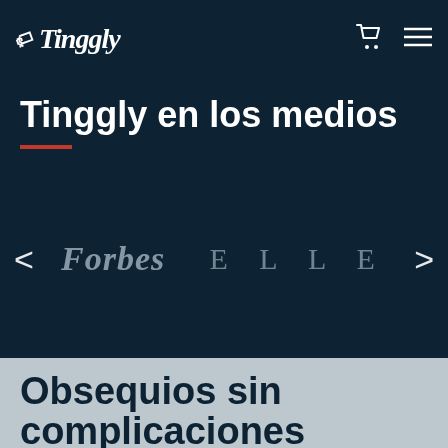Tinggly
Tinggly en los medios
[Figure (logo): Carousel showing Forbes and ELLE magazine logos on dark navy background with left and right navigation arrows]
Obsequios sin complicaciones
In order to improve the quality of your gift search, we use cookies for statistical and marketing purposes. Read more about our Privacy Policy.
ESTOY DE ACUERDO